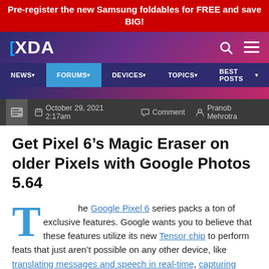Pre-register the new Samsung foldables for FREE and save BIG!
[Figure (logo): XDA Developers logo in white on purple-to-pink gradient header with search and menu icons]
NEWS | FORUMS | DEVICES | TOPICS | BEST POSTS
October 29, 2021 2:17am  Comment  Pranob Mehrotra
Get Pixel 6’s Magic Eraser on older Pixels with Google Photos 5.64
The Google Pixel 6 series packs a ton of exclusive features. Google wants you to believe that these features utilize its new Tensor chip to perform feats that just aren’t possible on any other device, like translating messages and speech in real-time, capturing